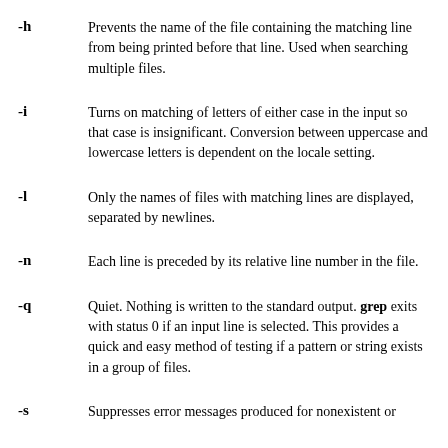-h
Prevents the name of the file containing the matching line from being printed before that line. Used when searching multiple files.
-i
Turns on matching of letters of either case in the input so that case is insignificant. Conversion between uppercase and lowercase letters is dependent on the locale setting.
-l
Only the names of files with matching lines are displayed, separated by newlines.
-n
Each line is preceded by its relative line number in the file.
-q
Quiet. Nothing is written to the standard output. grep exits with status 0 if an input line is selected. This provides a quick and easy method of testing if a pattern or string exists in a group of files.
-s
Suppresses error messages produced for nonexistent or